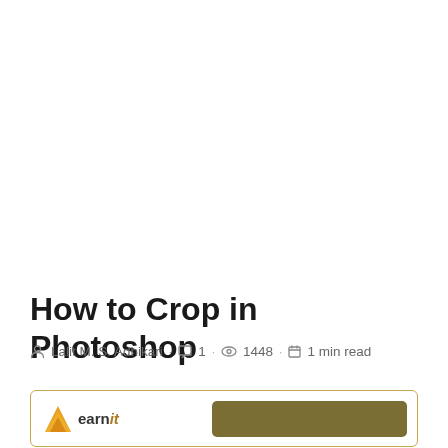How to Crop in Photoshop
Lalit M. S. Adhikari · 1 · 1448 · 1 min read
[Figure (other): Preview card with a triangular logo on the left and a dark olive/brown button area on the right, bordered with a golden-brown outline]